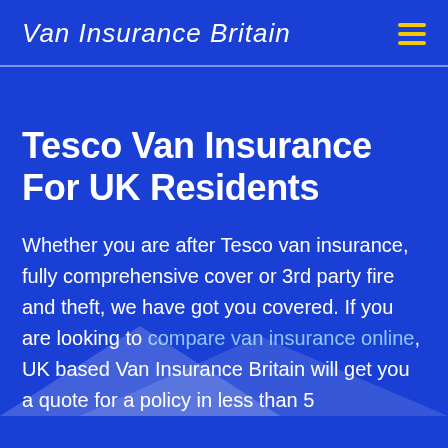Van Insurance Britain
Tesco Van Insurance For UK Residents
Whether you are after Tesco van insurance, fully comprehensive cover or 3rd party fire and theft, we have got you covered. If you are looking to compare van insurance online, UK based Van Insurance Britain will get you a quote for a policy in less than 5